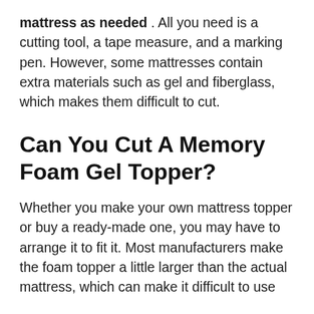mattress as needed. All you need is a cutting tool, a tape measure, and a marking pen. However, some mattresses contain extra materials such as gel and fiberglass, which makes them difficult to cut.
Can You Cut A Memory Foam Gel Topper?
Whether you make your own mattress topper or buy a ready-made one, you may have to arrange it to fit it. Most manufacturers make the foam topper a little larger than the actual mattress, which can make it difficult to use